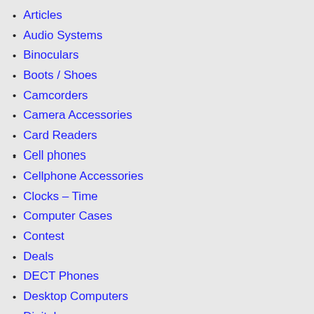Articles
Audio Systems
Binoculars
Boots / Shoes
Camcorders
Camera Accessories
Card Readers
Cell phones
Cellphone Accessories
Clocks – Time
Computer Cases
Contest
Deals
DECT Phones
Desktop Computers
Digital cameras
Digital Photo Frames
Display Adapter
Dvd players/recorders
E-Book Readers
E-Cigarettes and Accessories